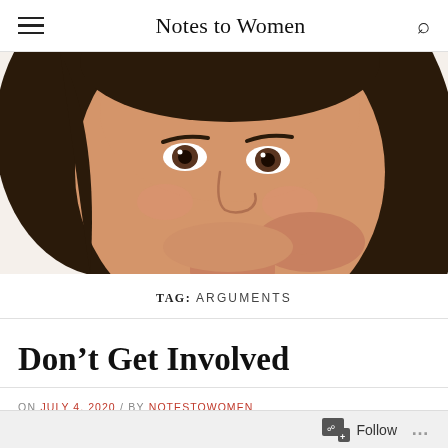Notes to Women
[Figure (photo): Close-up portrait of a young woman with long dark brown hair, smiling with teeth showing, hand raised near her chin, on a white background.]
TAG: ARGUMENTS
Don’t Get Involved
ON JULY 4, 2020 / BY NOTESTOWOMEN